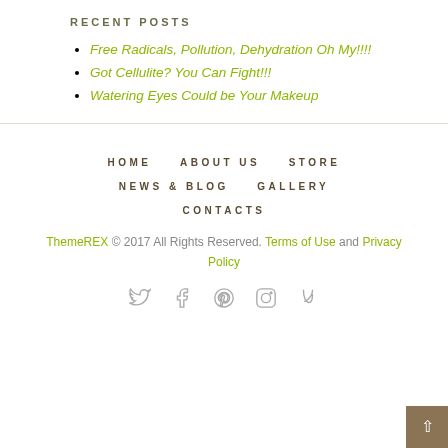RECENT POSTS
Free Radicals, Pollution, Dehydration Oh My!!!!
Got Cellulite? You Can Fight!!!
Watering Eyes Could be Your Makeup
HOME   ABOUT US   STORE   NEWS & BLOG   GALLERY   CONTACTS
ThemeREX © 2017 All Rights Reserved. Terms of Use and Privacy Policy